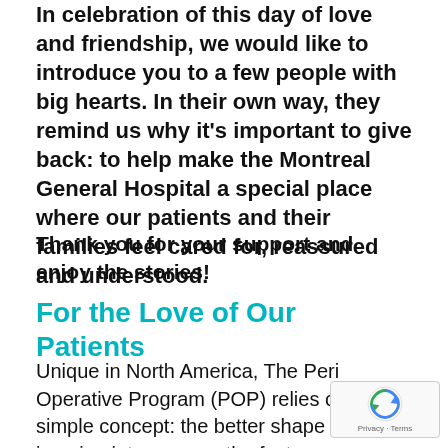In celebration of this day of love and friendship, we would like to introduce you to a few people with big hearts. In their own way, they remind us why it's important to give back: to help make the Montreal General Hospital a special place where our patients and their families feel cared for, reassured and understood.
Thank you for your support and enjoy the stories!
For the Love of Our Patients
Unique in North America, The Peri Operative Program (POP) relies on a simple concept: the better shape you are in going into surgery, the faster your recovery will be after surgery. The program is based on three pillars: exercise, nu... and psychological care. Baptised "The Happy...